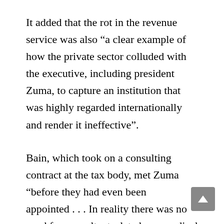It added that the rot in the revenue service was also “a clear example of how the private sector colluded with the executive, including president Zuma, to capture an institution that was highly regarded internationally and render it ineffective”.
Bain, which took on a consulting contract at the tax body, met Zuma “before they had even been appointed . . . In reality there was no need for consultants, let alone a radical overhaul of what was then a world-class institution”. The body was instead